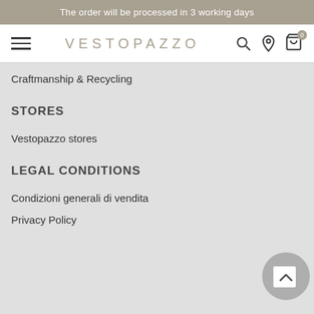The order will be processed in 3 working days
[Figure (logo): Vestopazzo navigation bar with hamburger menu, brand name VESTOPAZZO, search icon, location pin icon, and cart icon with badge 0]
Craftmanship & Recycling
STORES
Vestopazzo stores
LEGAL CONDITIONS
Condizioni generali di vendita
Privacy Policy